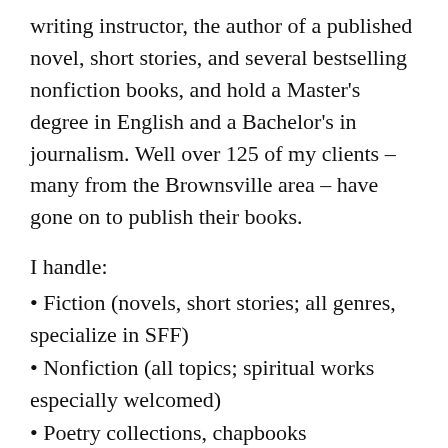writing instructor, the author of a published novel, short stories, and several bestselling nonfiction books, and hold a Master's degree in English and a Bachelor's in journalism. Well over 125 of my clients – many from the Brownsville area – have gone on to publish their books.
I handle:
Fiction (novels, short stories; all genres, specialize in SFF)
Nonfiction (all topics; spiritual works especially welcomed)
Poetry collections, chapbooks
Query letters, synopses, book proposals
Academic papers and dissertations (broad range of subjects; APA, MLA)
Admission essays, CVs, resumes
Business plans, documents, brochures/fliers,